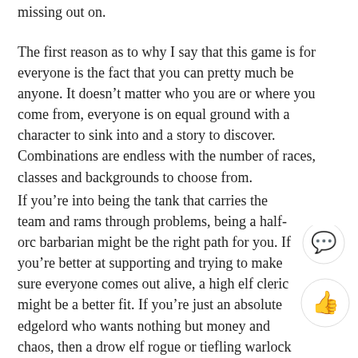missing out on.
The first reason as to why I say that this game is for everyone is the fact that you can pretty much be anyone. It doesn't matter who you are or where you come from, everyone is on equal ground with a character to sink into and a story to discover. Combinations are endless with the number of races, classes and backgrounds to choose from.
If you're into being the tank that carries the team and rams through problems, being a half-orc barbarian might be the right path for you. If you're better at supporting and trying to make sure everyone comes out alive, a high elf cleric might be a better fit. If you're just an absolute edgelord who wants nothing but money and chaos, then a drow elf rogue or tiefling warlock is definitely your type. Some dungeon masters, or DMs, are even willing to help you home-brew a new playable race or class. If you want to be an alien mad scientist, they can make that happen if you're willing to put just as much effort into building it.